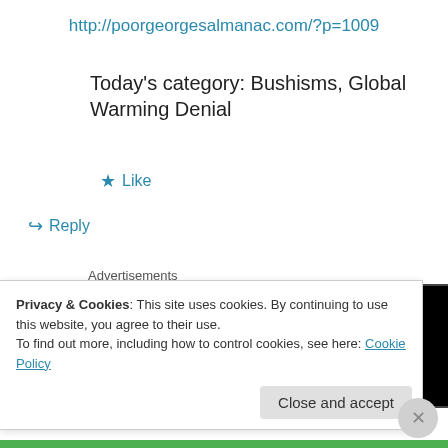http://poorgeorgesalmanac.com/?p=1009
Today's category: Bushisms, Global Warming Denial
★ Like
↪ Reply
Advertisements
[Figure (logo): Longreads logo: black background with red circle containing letter L and white text LONGREADS]
Privacy & Cookies: This site uses cookies. By continuing to use this website, you agree to their use.
To find out more, including how to control cookies, see here: Cookie Policy
Close and accept